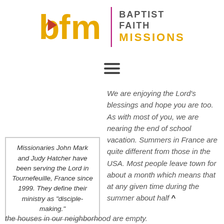[Figure (logo): Baptist Faith Missions logo: 'bfm' in gold with a red arrow icon, a vertical magenta divider line, and 'BAPTIST FAITH MISSIONS' text in grey/gold]
[Figure (other): Hamburger menu icon (three horizontal lines)]
Missionaries John Mark and Judy Hatcher have been serving the Lord in Tournefeuille, France since 1999. They define their ministry as "disciple-making."
We are enjoying the Lord's blessings and hope you are too. As with most of you, we are nearing the end of school vacation. Summers in France are quite different from those in the USA. Most people leave town for about a month which means that at any given time during the summer about half the houses in our neighborhood are empty.